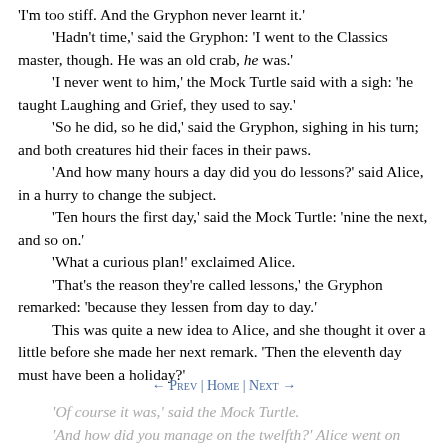'I'm too stiff. And the Gryphon never learnt it.'
	'Hadn't time,' said the Gryphon: 'I went to the Classics master, though. He was an old crab, he was.'
	'I never went to him,' the Mock Turtle said with a sigh: 'he taught Laughing and Grief, they used to say.'
	'So he did, so he did,' said the Gryphon, sighing in his turn; and both creatures hid their faces in their paws.
	'And how many hours a day did you do lessons?' said Alice, in a hurry to change the subject.
	'Ten hours the first day,' said the Mock Turtle: 'nine the next, and so on.'
	'What a curious plan!' exclaimed Alice.
	'That's the reason they're called lessons,' the Gryphon remarked: 'because they lessen from day to day.'
	This was quite a new idea to Alice, and she thought it over a little before she made her next remark. 'Then the eleventh day must have been a holiday?'
← Prev | Home | Next →
'Of course it was,' said the Mock Turtle.
	'And how did you manage on the twelfth?' Alice went on